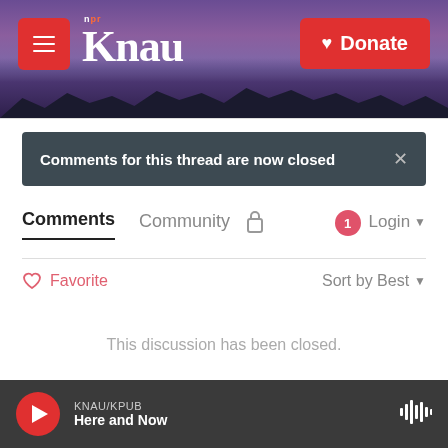[Figure (screenshot): KNAU NPR radio station website header with purple mountain landscape background, red hamburger menu button on left, KNAU logo in white serif font, red Donate button with heart icon on right]
Comments for this thread are now closed
Comments   Community   🔒   1   Login ▾
♡ Favorite   Sort by Best ▾
This discussion has been closed.
✉ Subscribe   © Add Disqus   ⚠ Do Not Sell My Data   DISQUS
KNAU/KPUB
Here and Now